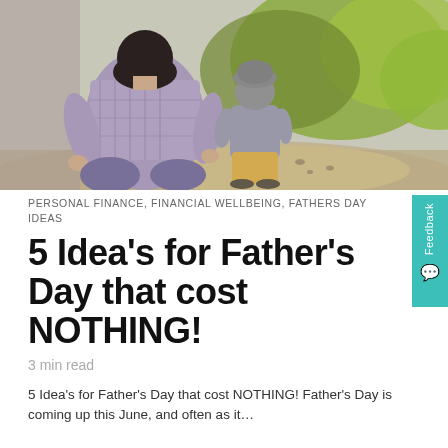[Figure (photo): A father crouching down beside a young child outdoors on a path surrounded by trees and greenery. Both are seen from behind — the father in a plaid shirt and the child in a grey outfit and hat.]
PERSONAL FINANCE, FINANCIAL WELLBEING, FATHERS DAY IDEAS
5 Idea’s for Father’s Day that cost NOTHING!
3 min read
5 Idea’s for Father’s Day that cost NOTHING!  Father’s Day is coming up this June, and often as it…